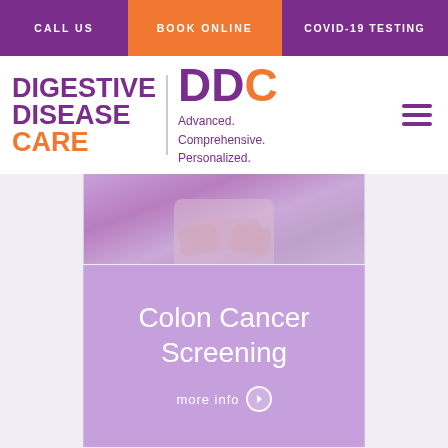CALL US | BOOK ONLINE | COVID-19 TESTING
[Figure (logo): Digestive Disease Care DDC logo with tagline Advanced. Comprehensive. Personalized.]
[Figure (photo): Partial image of person holding their stomach area, shown from waist up with purple tint overlay]
[Figure (photo): Purple-tinted panel with text Colon Cancer Screening and more info button with arrow]
Colon Cancer Screening
more info
[Figure (photo): Partial image at bottom showing a person, purple and orange tinted]